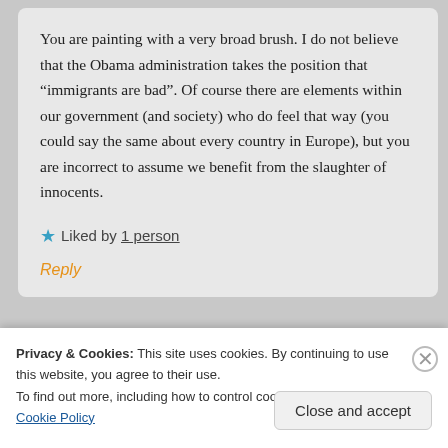You are painting with a very broad brush. I do not believe that the Obama administration takes the position that “immigrants are bad”. Of course there are elements within our government (and society) who do feel that way (you could say the same about every country in Europe), but you are incorrect to assume we benefit from the slaughter of innocents.
★ Liked by 1 person
Reply
Privacy & Cookies: This site uses cookies. By continuing to use this website, you agree to their use.
To find out more, including how to control cookies, see here: Cookie Policy
Close and accept